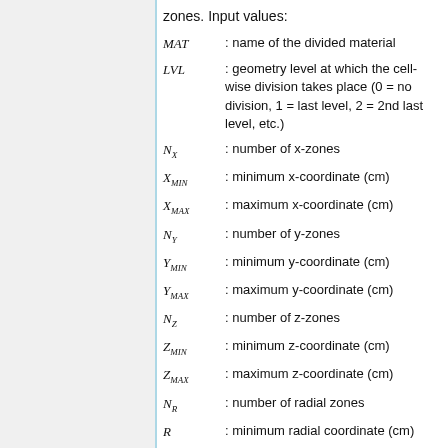zones. Input values:
MAT : name of the divided material
LVL : geometry level at which the cell-wise division takes place (0 = no division, 1 = last level, 2 = 2nd last level, etc.)
NX : number of x-zones
XMIN : minimum x-coordinate (cm)
XMAX : maximum x-coordinate (cm)
NY : number of y-zones
YMIN : minimum y-coordinate (cm)
YMAX : maximum y-coordinate (cm)
NZ : number of z-zones
ZMIN : minimum z-coordinate (cm)
ZMAX : maximum z-coordinate (cm)
NR : number of radial zones
R : minimum radial coordinate (cm)